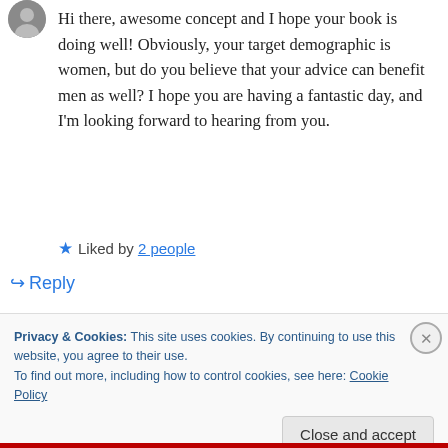[Figure (photo): Partial view of a circular grey avatar/profile icon in top left corner]
Hi there, awesome concept and I hope your book is doing well! Obviously, your target demographic is women, but do you believe that your advice can benefit men as well? I hope you are having a fantastic day, and I'm looking forward to hearing from you.
★ Liked by 2 people
↪ Reply
Privacy & Cookies: This site uses cookies. By continuing to use this website, you agree to their use.
To find out more, including how to control cookies, see here: Cookie Policy
Close and accept